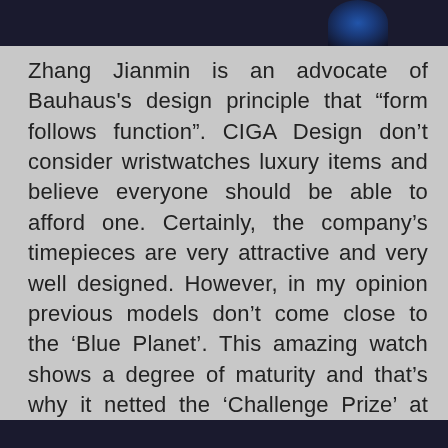[Figure (photo): Dark image bar at top of page, partially showing a watch or circular object with blue tones against dark background]
Zhang Jianmin is an advocate of Bauhaus's design principle that “form follows function”. CIGA Design don’t consider wristwatches luxury items and believe everyone should be able to afford one. Certainly, the company’s timepieces are very attractive and very well designed. However, in my opinion previous models don’t come close to the ‘Blue Planet’. This amazing watch shows a degree of maturity and that’s why it netted the ‘Challenge Prize’ at the Grand Prix d’Horlogerie de Genève 2021 awards. On first inspection you could be mistaken for thinking it was created by Vianney Halter or MB & F.
[Figure (photo): Dark image bar at bottom of page, partially showing a watch against dark background]